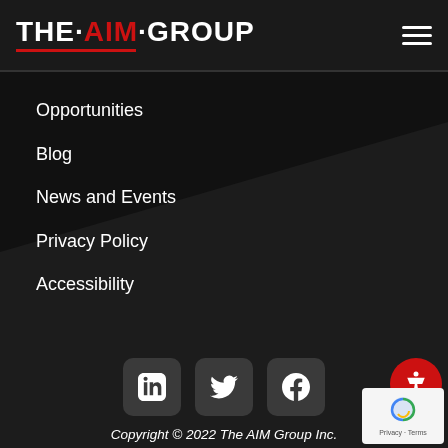THE · AIM · GROUP
Opportunities
Blog
News and Events
Privacy Policy
Accessibility
[Figure (infographic): Social media icons: LinkedIn, Twitter, Facebook in dark rounded square buttons]
Copyright © 2022 The AIM Group Inc. All rights reserved